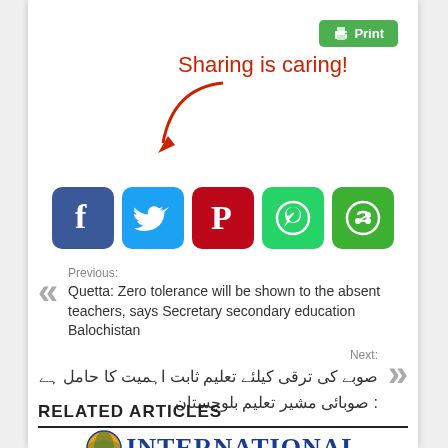[Figure (screenshot): Green Print button with printer icon in top right corner]
[Figure (illustration): Handwritten-style red text 'Sharing is caring!' with a red curved arrow pointing down to social media buttons]
[Figure (infographic): Row of 5 social media share buttons: Facebook (blue), Twitter (light blue), Pinterest (red), WhatsApp (green), ShareThis (green)]
Previous:
Quetta: Zero tolerance will be shown to the absent teachers, says Secretary secondary education Balochistan
Next:
صوبے کی ترقی کیلئے تعلیم ثابت اہمیت کا حامل ہے : صوبائی مشیر تعلیم بلوچستان
RELATED ARTICLES
[Figure (logo): INTERNATIONAL logo with globe icon]